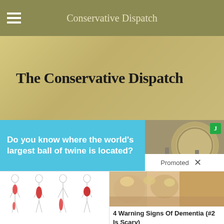Conservative Dispatch
The Conservative Dispatch
[Figure (screenshot): Advertisement banner: 'Do you know where the world's largest ball of twine is located?' with blue background and photo of a large structure. Promoted label with X button.]
[Figure (illustration): Medical illustration showing four human body silhouettes with red highlighted pain areas along the spine and legs.]
[Figure (photo): Close-up photo of fingernails showing yellow discoloration.]
4 Warning Signs Of Dementia (#2 Is Scary)